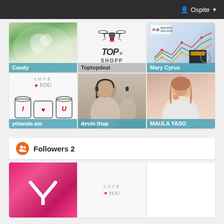Ospite
[Figure (screenshot): Grid of 6 user profile cards: Candy (flower photo), Toptopdeal (drone + TOP SHOPP logo), Mary Cyrus (reports and data chart), yolanda am (love you illustration), devin thap (man with headset), MAULA YASO (young woman)]
Followers 2
[Figure (screenshot): Two follower profile thumbnails: one with pink/red gradient and white logo, one with 'LOVE YOU' text illustration]